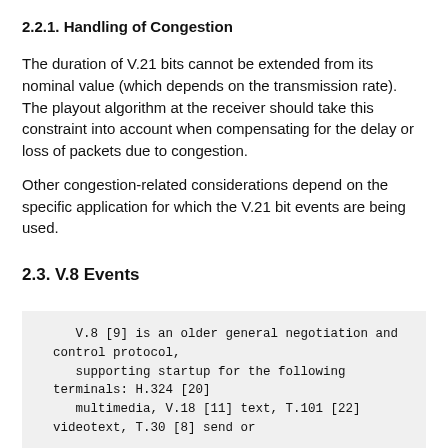2.2.1. Handling of Congestion
The duration of V.21 bits cannot be extended from its nominal value (which depends on the transmission rate). The playout algorithm at the receiver should take this constraint into account when compensating for the delay or loss of packets due to congestion.
Other congestion-related considerations depend on the specific application for which the V.21 bit events are being used.
2.3. V.8 Events
V.8 [9] is an older general negotiation and
  control protocol,
     supporting startup for the following
  terminals: H.324 [20]
     multimedia, V.18 [11] text, T.101 [22]
  videotext, T.30 [8] send or